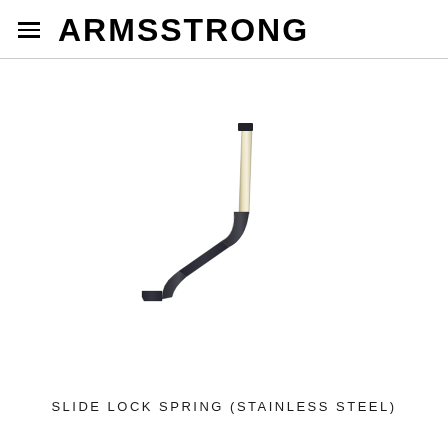ARMSSTRONG
[Figure (photo): A metal slide lock spring made of stainless steel, S-shaped flat metal strip with a bright silver top end and dark gunmetal lower section, photographed on a white background.]
SLIDE LOCK SPRING (STAINLESS STEEL)